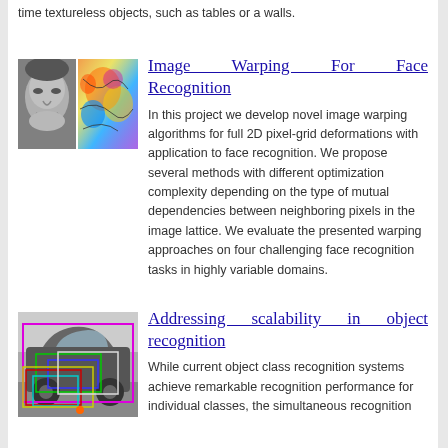time textureless objects, such as tables or a walls.
[Figure (photo): Two small images side by side: a grayscale face photo and a colorful heat-map/depth visualization of a face]
Image Warping For Face Recognition
In this project we develop novel image warping algorithms for full 2D pixel-grid deformations with application to face recognition. We propose several methods with different optimization complexity depending on the type of mutual dependencies between neighboring pixels in the image lattice. We evaluate the presented warping approaches on four challenging face recognition tasks in highly variable domains.
[Figure (photo): Grayscale photo of a car with colored bounding boxes overlaid for object recognition]
Addressing scalability in object recognition
While current object class recognition systems achieve remarkable recognition performance for individual classes, the simultaneous recognition